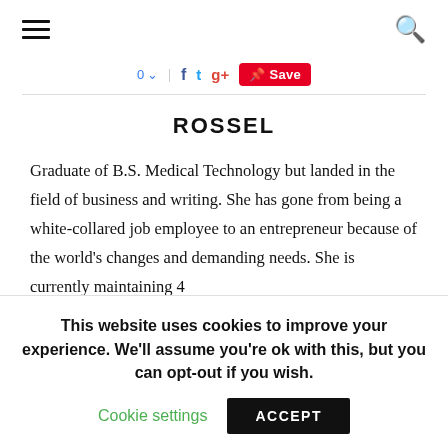Navigation header with hamburger menu and search icon
0 ↓ | f t g+ Save
ROSSEL
Graduate of B.S. Medical Technology but landed in the field of business and writing. She has gone from being a white-collared job employee to an entrepreneur because of the world's changes and demanding needs. She is currently maintaining 4
This website uses cookies to improve your experience. We'll assume you're ok with this, but you can opt-out if you wish.
Cookie settings   ACCEPT